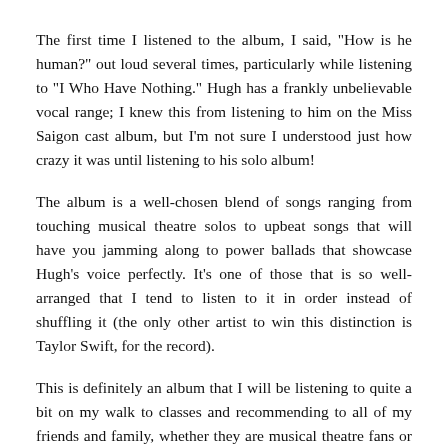The first time I listened to the album, I said, "How is he human?" out loud several times, particularly while listening to "I Who Have Nothing." Hugh has a frankly unbelievable vocal range; I knew this from listening to him on the Miss Saigon cast album, but I'm not sure I understood just how crazy it was until listening to his solo album!
The album is a well-chosen blend of songs ranging from touching musical theatre solos to upbeat songs that will have you jamming along to power ballads that showcase Hugh's voice perfectly. It's one of those that is so well-arranged that I tend to listen to it in order instead of shuffling it (the only other artist to win this distinction is Taylor Swift, for the record).
This is definitely an album that I will be listening to quite a bit on my walk to classes and recommending to all of my friends and family, whether they are musical theatre fans or not!
If you want to hear it for yourself, you can order a physical copy online or purchase the album on iTunes. You can also hear Hugh on the Miss Saigon 2014 London cast album and